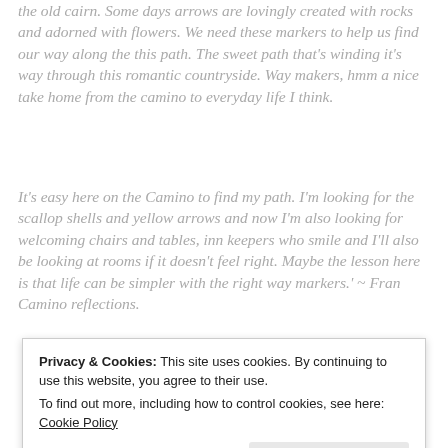the old cairn. Some days arrows are lovingly created with rocks and adorned with flowers. We need these markers to help us find our way along the this path. The sweet path that's winding it's way through this romantic countryside. Way makers, hmm a nice take home from the camino to everyday life I think.
It's easy here on the Camino to find my path. I'm looking for the scallop shells and yellow arrows and now I'm also looking for welcoming chairs and tables, inn keepers who smile and I'll also be looking at rooms if it doesn't feel right. Maybe the lesson here is that life can be simpler with the right way markers.' ~ Fran Camino reflections.
Privacy & Cookies: This site uses cookies. By continuing to use this website, you agree to their use. To find out more, including how to control cookies, see here: Cookie Policy